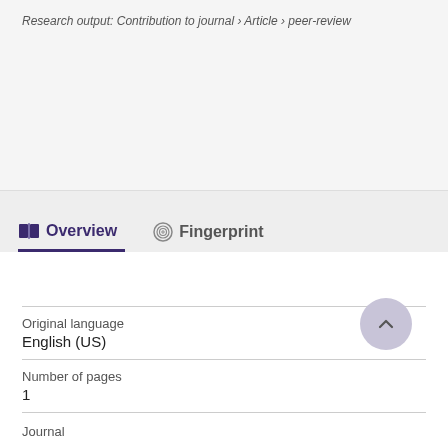Research output: Contribution to journal › Article › peer-review
Overview
Fingerprint
Original language
English (US)
Number of pages
1
Journal